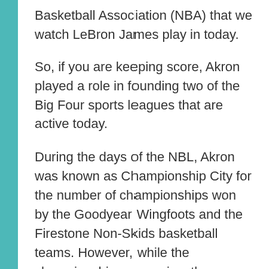Basketball Association (NBA) that we watch LeBron James play in today.
So, if you are keeping score, Akron played a role in founding two of the Big Four sports leagues that are active today.
During the days of the NBL, Akron was known as Championship City for the number of championships won by the Goodyear Wingfoots and the Firestone Non-Skids basketball teams. However, while the championships were nice, the game that really mattered each season in Akron was the Wingfoots vs the Non-Skids. This was an intense basketball rivalry that made local heroes and celebrities of the players and gave bragging rights to the sides of town where the teams played. The results of these games would make front page news